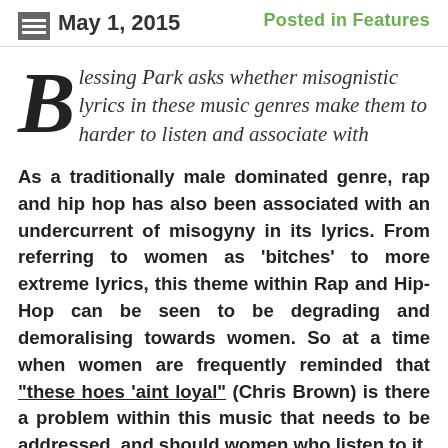May 1, 2015    Posted in Features
Blessing Park asks whether misognistic lyrics in these music genres make them to harder to listen and associate with
As a traditionally male dominated genre, rap and hip hop has also been associated with an undercurrent of misogyny in its lyrics. From referring to women as 'bitches' to more extreme lyrics, this theme within Rap and Hip-Hop can be seen to be degrading and demoralising towards women. So at a time when women are frequently reminded that "these hoes 'aint loyal" (Chris Brown) is there a problem within this music that needs to be addressed, and should women who listen to it